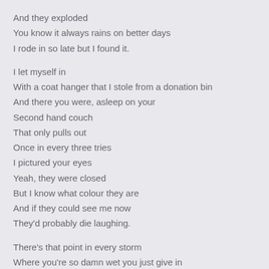And they exploded
You know it always rains on better days
I rode in so late but I found it.
I let myself in
With a coat hanger that I stole from a donation bin
And there you were, asleep on your
Second hand couch
That only pulls out
Once in every three tries
I pictured your eyes
Yeah, they were closed
But I know what colour they are
And if they could see me now
They'd probably die laughing.
There's that point in every storm
Where you're so damn wet you just give in